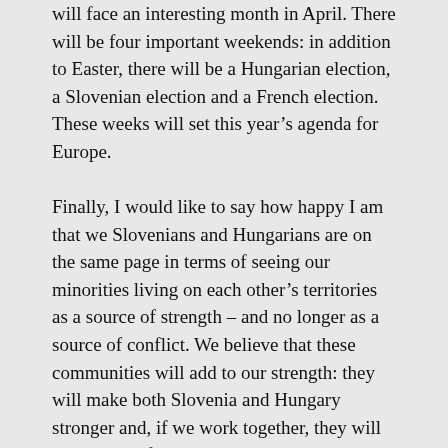will face an interesting month in April. There will be four important weekends: in addition to Easter, there will be a Hungarian election, a Slovenian election and a French election. These weeks will set this year's agenda for Europe.
Finally, I would like to say how happy I am that we Slovenians and Hungarians are on the same page in terms of seeing our minorities living on each other's territories as a source of strength – and no longer as a source of conflict. We believe that these communities will add to our strength: they will make both Slovenia and Hungary stronger and, if we work together, they will make both of us stronger at the same time.